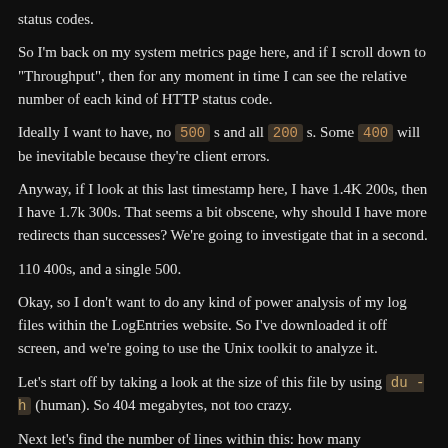status codes.
So I'm back on my system metrics page here, and if I scroll down to "Throughput", then for any moment in time I can see the relative number of each kind of HTTP status code.
Ideally I want to have, no 500 s and all 200 s. Some 400 will be inevitable because they're client errors.
Anyway, if I look at this last timestamp here, I have 1.4K 200s, then I have 1.7k 300s. That seems a bit obscene, why should I have more redirects than successes? We're going to investigate that in a second.
110 400s, and a single 500.
Okay, so I don't want to do any kind of power analysis of my log files within the LogEntries website. So I've downloaded it off screen, and we're going to use the Unix toolkit to analyze it.
Let's start off by taking a look at the size of this file by using du -h (human). So 404 megabytes, not too crazy.
Next let's find the number of lines within this: how many